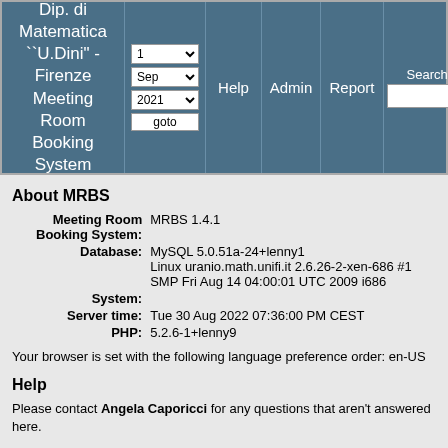Dip. di Matematica ``U.Dini" - Firenze Meeting Room Booking System | Help | Admin | Report | Search | Un... | L...
About MRBS
| Meeting Room Booking System: | MRBS 1.4.1 |
| Database: | MySQL 5.0.51a-24+lenny1 |
|  | Linux uranio.math.unifi.it 2.6.26-2-xen-686 #1 SMP Fri Aug 14 04:00:01 UTC 2009 i686 |
| System: |  |
| Server time: | Tue 30 Aug 2022 07:36:00 PM CEST |
| PHP: | 5.2.6-1+lenny9 |
Your browser is set with the following language preference order: en-US
Help
Please contact Angela Caporicci for any questions that aren't answered here.